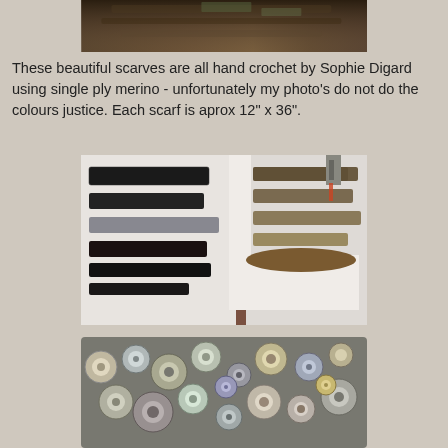[Figure (photo): Top portion of a hand-crocheted scarf by Sophie Digard, partially cropped at top of page]
These beautiful scarves are all hand crochet by Sophie Digard using single ply merino - unfortunately my photo's do not do the colours justice. Each scarf is aprox 12" x 36".
[Figure (photo): A display room with multiple Sophie Digard hand-crocheted scarves hung on white walls, showing various dark, black, and earth-toned patterns]
[Figure (photo): Close-up of a Sophie Digard scarf showing circular/oval patchwork pattern in grey, blue, cream, and earth tones]